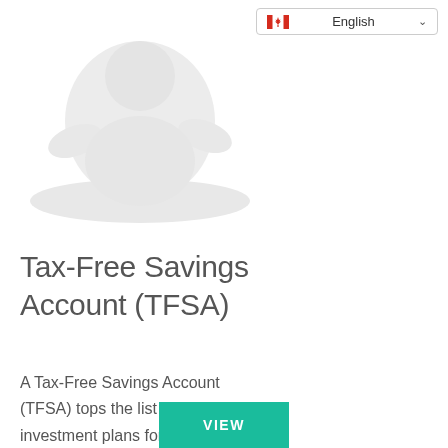[Figure (illustration): Faint watermark-style illustration of a person or financial graphic in light gray tones in the upper-left area]
English
Tax-Free Savings Account (TFSA)
A Tax-Free Savings Account (TFSA) tops the list of investment plans for newcomers.
VIEW